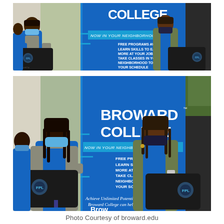[Figure (photo): Group of people wearing blue shirts and face masks holding black FPL-branded laptop bags in front of a Broward College 'Now In Your Neighborhood' banner. Cropped top portion of a photo.]
[Figure (photo): Same group of people wearing blue shirts and face masks holding black FPL-branded laptop bags in front of a Broward College 'Now In Your Neighborhood' banner. Full photo showing tagline 'Achieve Unlimited Potential! Broward College can help.' at bottom of banner.]
Photo Courtesy of broward.edu